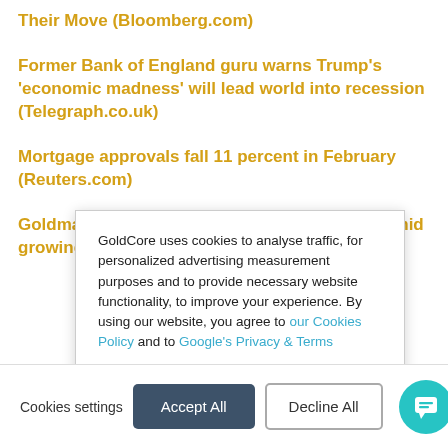Their Move (Bloomberg.com)
Former Bank of England guru warns Trump's 'economic madness' will lead world into recession (Telegraph.co.uk)
Mortgage approvals fall 11 percent in February (Reuters.com)
Goldman Sachs expects gold to 'outperform' amid growing
GoldCore uses cookies to analyse traffic, for personalized advertising measurement purposes and to provide necessary website functionality, to improve your experience. By using our website, you agree to our Cookies Policy and to Google's Privacy & Terms
If you decline, your information will be tracked anonymously when you visit our website. In addition to necessary cookies, a single cookie will be used in your browser to remember your preference not to be tracked.
Cookies settings | Accept All | Decline All